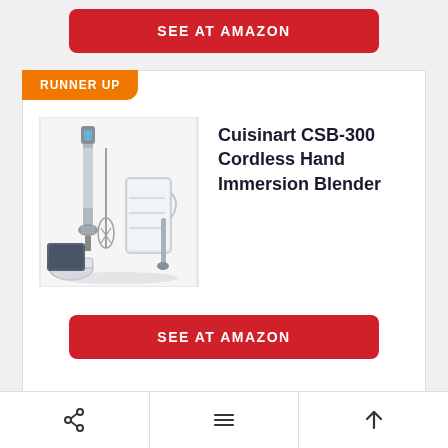[Figure (screenshot): Red SEE AT AMAZON button from previous product card (partially visible at top)]
RUNNER UP
[Figure (photo): Cuisinart CSB-300 Cordless Hand Immersion Blender product photo with accessories including whisk, chopper, and measuring cup]
Cuisinart CSB-300 Cordless Hand Immersion Blender
SEE AT AMAZON
PREMIUM CHOICE
All-Clad Hand 5-Speed Cordless Immersion
[Figure (screenshot): Bottom navigation bar with share icon, hamburger menu icon, and up arrow icon]